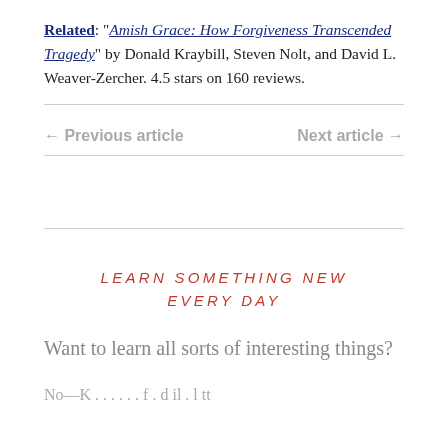Related: "Amish Grace: How Forgiveness Transcended Tragedy" by Donald Kraybill, Steven Nolt, and David L. Weaver-Zercher. 4.5 stars on 160 reviews.
← Previous article    Next article →
LEARN SOMETHING NEW EVERY DAY
Want to learn all sorts of interesting things?
No—K... f d il  l tt